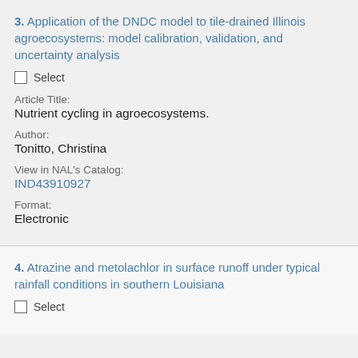3. Application of the DNDC model to tile-drained Illinois agroecosystems: model calibration, validation, and uncertainty analysis
Select
Article Title:
Nutrient cycling in agroecosystems.
Author:
Tonitto, Christina
View in NAL's Catalog:
IND43910927
Format:
Electronic
4. Atrazine and metolachlor in surface runoff under typical rainfall conditions in southern Louisiana
Select